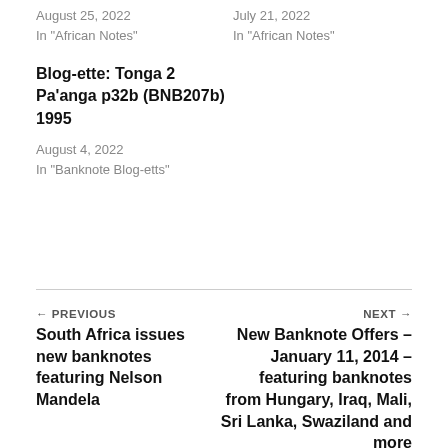August 25, 2022
In "African Notes"
July 21, 2022
In "African Notes"
Blog-ette: Tonga 2 Pa'anga p32b (BNB207b) 1995
August 4, 2022
In "Banknote Blog-etts"
← PREVIOUS
South Africa issues new banknotes featuring Nelson Mandela
NEXT →
New Banknote Offers – January 11, 2014 – featuring banknotes from Hungary, Iraq, Mali, Sri Lanka, Swaziland and more
LEAVE A REPLY